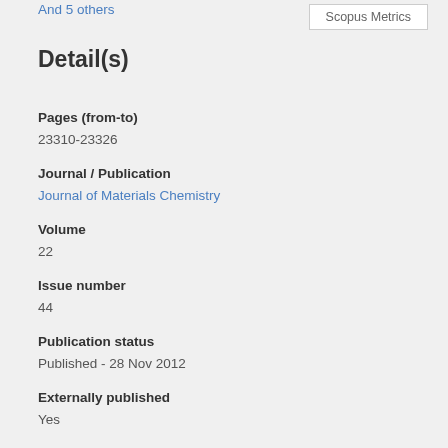And 5 others
Scopus Metrics
Detail(s)
Pages (from-to)
23310-23326
Journal / Publication
Journal of Materials Chemistry
Volume
22
Issue number
44
Publication status
Published - 28 Nov 2012
Externally published
Yes